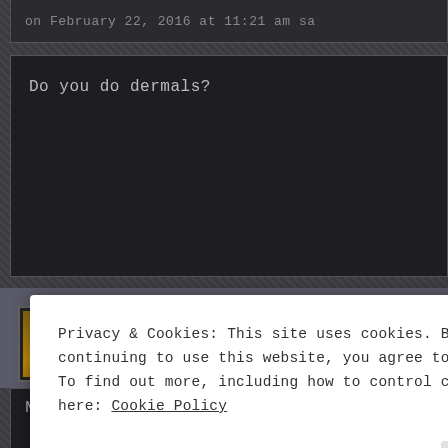on February 22, 2016 at 11:21 am sa
Do you do dermals?
Tattoo Obscura
on February 22, 2016 at 11:43 am
No. The state of Wisconsin says we can
Privacy & Cookies: This site uses cookies. By continuing to use this website, you agree to their use. To find out more, including how to control cookies, see here: Cookie Policy
Close and accept